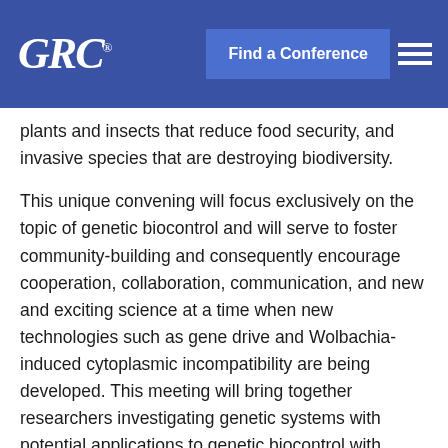GRC logo | Find a Conference | Menu
plants and insects that reduce food security, and invasive species that are destroying biodiversity.
This unique convening will focus exclusively on the topic of genetic biocontrol and will serve to foster community-building and consequently encourage cooperation, collaboration, communication, and new and exciting science at a time when new technologies such as gene drive and Wolbachia-induced cytoplasmic incompatibility are being developed. This meeting will bring together researchers investigating genetic systems with potential applications to genetic biocontrol with technology developers and those implementing genetic biocontrol strategies to share knowledge, foster new research, compare lessons-learned and develop best practices. This conference will feature